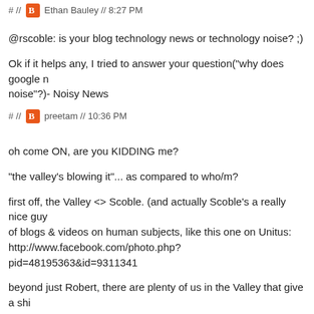# // Ethan Bauley // 8:27 PM
@rscoble: is your blog technology news or technology noise? ;)
Ok if it helps any, I tried to answer your question("why does google noise"?)- Noisy News
# // preetam // 10:36 PM
oh come ON, are you KIDDING me?
"the valley's blowing it"... as compared to who/m?
first off, the Valley <> Scoble. (and actually Scoble's a really nice guy of blogs & videos on human subjects, like this one on Unitus: http://www.facebook.com/photo.php?pid=48195363&id=9311341
beyond just Robert, there are plenty of us in the Valley that give a shi issues & causes. i help run the Silicon Valley Microfinance Network (h and i'm an advisor to Kiva & a board member for Unitus. for another e Jeremiah's post this week promoting help for the China earthquake: http://www.facebook.com/photo.php?pid=48195363&id=9311341